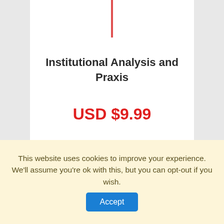Institutional Analysis and Praxis
USD $9.99
This website uses cookies to improve your experience. We'll assume you're ok with this, but you can opt-out if you wish.